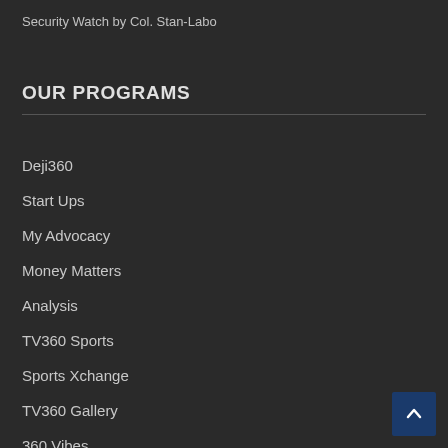Security Watch by Col. Stan-Labo
OUR PROGRAMS
Deji360
Start Ups
My Advocacy
Money Matters
Analysis
TV360 Sports
Sports Xchange
TV360 Gallery
360 Vibes
Talking Migration